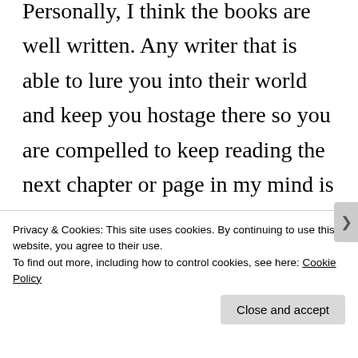Personally, I think the books are well written. Any writer that is able to lure you into their world and keep you hostage there so you are compelled to keep reading the next chapter or page in my mind is a good writer. The characters are also interesting and if you had kept reading, there's intrigue and action with helicopter crashes, car
Privacy & Cookies: This site uses cookies. By continuing to use this website, you agree to their use.
To find out more, including how to control cookies, see here: Cookie Policy
Close and accept